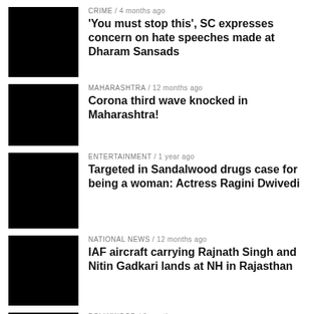[Figure (photo): Black thumbnail image for crime news item]
CRIME / 4 months ago
'You must stop this', SC expresses concern on hate speeches made at Dharam Sansads
[Figure (photo): Black thumbnail image for Maharashtra news item]
MAHARASHTRA / 12 months ago
Corona third wave knocked in Maharashtra!
[Figure (photo): Black thumbnail image for entertainment news item]
ENTERTAINMENT / 1 year ago
Targeted in Sandalwood drugs case for being a woman: Actress Ragini Dwivedi
[Figure (photo): Black thumbnail image for national news item]
NATIONAL NEWS / 12 months ago
IAF aircraft carrying Rajnath Singh and Nitin Gadkari lands at NH in Rajasthan
[Figure (photo): Black thumbnail image for Bollywood news item]
BOLLYWOOD / 3 months ago
Anushka Sharma starts shooting for her 'Chakda Xpress'